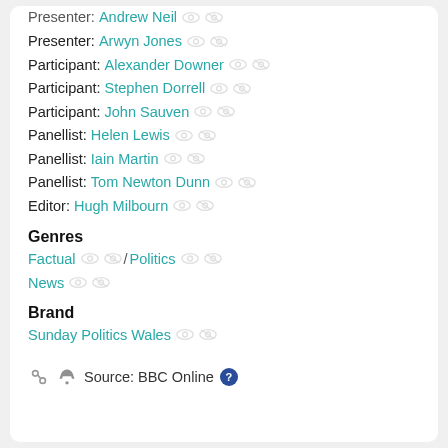Presenter: Andrew Neil
Presenter: Arwyn Jones
Participant: Alexander Downer
Participant: Stephen Dorrell
Participant: John Sauven
Panellist: Helen Lewis
Panellist: Iain Martin
Panellist: Tom Newton Dunn
Editor: Hugh Milbourn
Genres
Factual / Politics
News
Brand
Sunday Politics Wales
Source: BBC Online